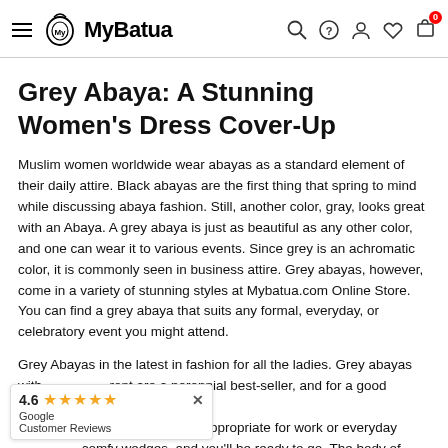MyBatua — navigation header with hamburger menu, logo, search, help, account, wishlist, cart (0)
Grey Abaya: A Stunning Women's Dress Cover-Up
Muslim women worldwide wear abayas as a standard element of their daily attire. Black abayas are the first thing that spring to mind while discussing abaya fashion. Still, another color, gray, looks great with an Abaya. A grey abaya is just as beautiful as any other color, and one can wear it to various events. Since grey is an achromatic color, it is commonly seen in business attire. Grey abayas, however, come in a variety of stunning styles at Mybatua.com Online Store. You can find a grey abaya that suits any formal, everyday, or celebratory event you might attend.
Grey Abayas in the latest in fashion for all the ladies. Grey abayas with …ront are a perennial best-seller, and for a good reason. …, understated styles appropriate for work or everyday …comfy wedges, and you'll be ready to go. The body of …s is adorned with beautiful embroidery motifs and
[Figure (other): Google Customer Reviews widget showing 4.6 star rating with orange stars and a close button]